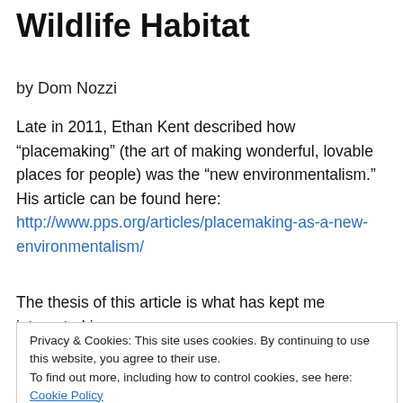Wildlife Habitat
by Dom Nozzi
Late in 2011, Ethan Kent described how “placemaking” (the art of making wonderful, lovable places for people) was the “new environmentalism.” His article can be found here: http://www.pps.org/articles/placemaking-as-a-new-environmentalism/
The thesis of this article is what has kept me interested in town planning for the past 22 years.
Privacy & Cookies: This site uses cookies. By continuing to use this website, you agree to their use.
To find out more, including how to control cookies, see here: Cookie Policy
people like me interested.